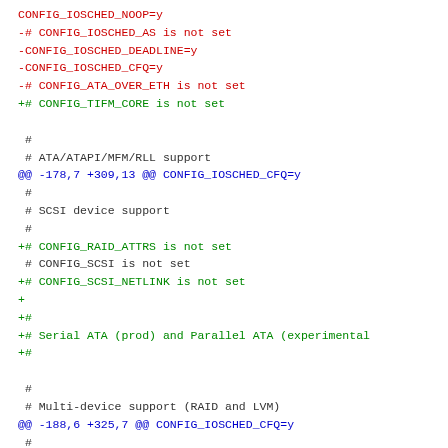CONFIG_IOSCHED_NOOP=y
-# CONFIG_IOSCHED_AS is not set
-CONFIG_IOSCHED_DEADLINE=y
-CONFIG_IOSCHED_CFQ=y
-# CONFIG_ATA_OVER_ETH is not set
+# CONFIG_TIFM_CORE is not set

 #
 # ATA/ATAPI/MFM/RLL support
@@ -178,7 +309,13 @@ CONFIG_IOSCHED_CFQ=y
 #
 # SCSI device support
 #
+# CONFIG_RAID_ATTRS is not set
 # CONFIG_SCSI is not set
+# CONFIG_SCSI_NETLINK is not set
+
+#
+# Serial ATA (prod) and Parallel ATA (experimental
+#

 #
 # Multi-device support (RAID and LVM)
@@ -188,6 +325,7 @@ CONFIG_IOSCHED_CFQ=y
 #
 # Fusion MPT device support
 #